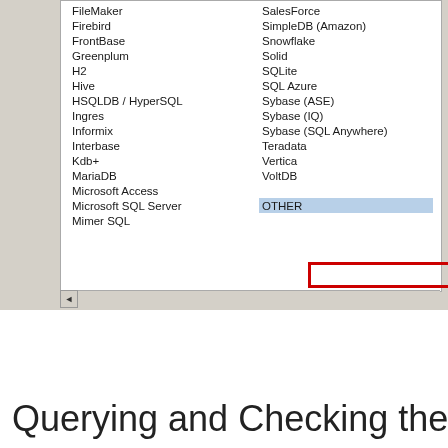[Figure (screenshot): A screenshot of a database connection dialog showing a list of database types in two columns. The left column shows: FileMaker, Firebird, FrontBase, Greenplum, H2, Hive, HSQLDB / HyperSQL, Ingres, Informix, Interbase, Kdb+, MariaDB, Microsoft Access, Microsoft SQL Server, Mimer SQL. The right column shows: SalesForce, SimpleDB (Amazon), Snowflake, Solid, SQLite, SQL Azure, Sybase (ASE), Sybase (IQ), Sybase (SQL Anywhere), Teradata, Vertica, VoltDB, and OTHER (highlighted in blue with a red box around it). A Continue button is visible on the right side. A scrollbar appears at the bottom.]
Querying and Checking the Logs